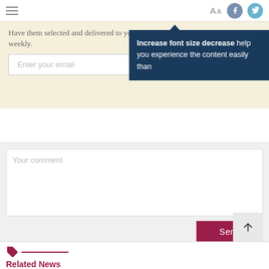≡  Aa  [Facebook] [Twitter]
Have them selected and delivered to you weekly.
Enter your email
Increase font size decrease help you experience the content easily than
Your comment
Send
Related News